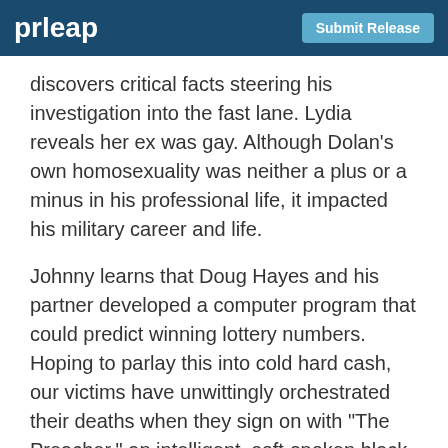prleap | Submit Release
discovers critical facts steering his investigation into the fast lane. Lydia reveals her ex was gay. Although Dolan's own homosexuality was neither a plus or a minus in his professional life, it impacted his military career and life.
Johnny learns that Doug Hayes and his partner developed a computer program that could predict winning lottery numbers. Hoping to parlay this into cold hard cash, our victims have unwittingly orchestrated their deaths when they sign on with "The Preacher," an intelligent, soft-spoken black man who runs the Harlem numbers racket known as Policy.
This connection catches the watchful eye of Bunny